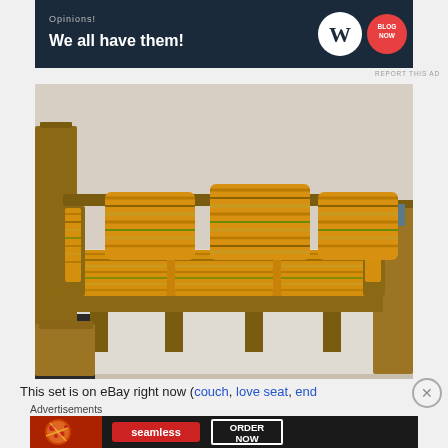[Figure (screenshot): Dark navy blue advertisement banner with text 'Opinions! We all have them!' and WordPress W logo and circular blog now logo]
[Figure (photo): Vintage mid-century modern sofa set with orange and yellow striped cushions and dark wood frame, photographed outdoors on a patio with matching end tables and coffee table]
This set is on eBay right now (couch, love seat, end
[Figure (screenshot): Seamless food delivery advertisement with pizza image, Seamless logo in red, and ORDER NOW button on dark background]